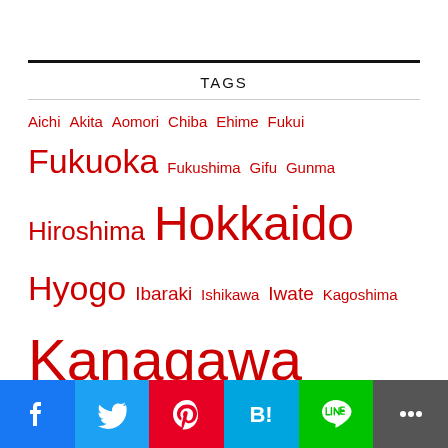TAGS
Aichi Akita Aomori Chiba Ehime Fukui Fukuoka Fukushima Gifu Gunma Hiroshima Hokkaido Hyogo Ibaraki Ishikawa Iwate Kagoshima Kanagawa Kumamoto Kyoto Mie Miyagi Nagano Nagasaki Nara Nature Oita Okayama Okinawa Osaka Saga Saitama Shiga Shimane Shizuoka Shrine Temple Tochigi Tokushima Tokyo Toyama Wakayama Yamagata Yamaguchi Yamanashi
[Figure (other): Social sharing buttons: Facebook, Twitter, Pinterest, Hatena Bookmark, LINE, More]